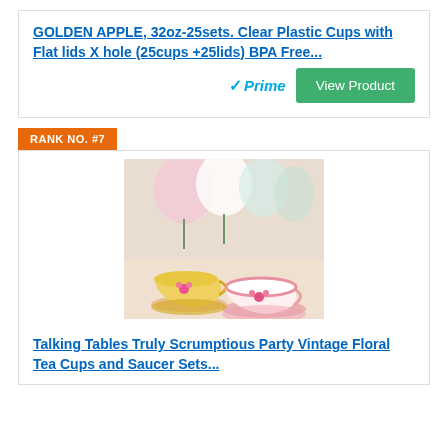GOLDEN APPLE, 32oz-25sets. Clear Plastic Cups with Flat lids X hole (25cups +25lids) BPA Free...
[Figure (other): Amazon Prime logo badge]
View Product
RANK NO. #7
[Figure (photo): Photo of floral tea cups and saucers on a table with flowers in background. Two decorative teacups with pink floral patterns on saucers.]
Talking Tables Truly Scrumptious Party Vintage Floral Tea Cups and Saucer Sets...